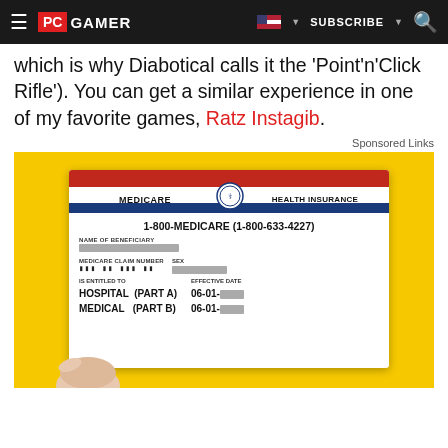PC GAMER | SUBSCRIBE | [search]
which is why Diabotical calls it the 'Point'n'Click Rifle'). You can get a similar experience in one of my favorite games, Ratz Instagib.
Sponsored Links
[Figure (photo): A hand holding a Medicare Health Insurance card against a yellow background. The card shows: 1-800-MEDICARE (1-800-633-4227), NAME OF BENEFICIARY (redacted), MEDICARE CLAIM NUMBER (redacted), IS ENTITLED TO: HOSPITAL (PART A) 06-01-[redacted], MEDICAL (PART B) 06-01-[redacted]]